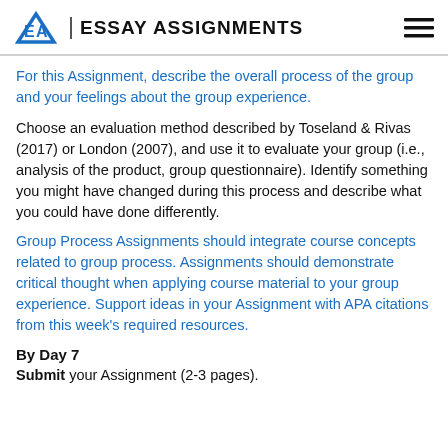EA | ESSAY ASSIGNMENTS
For this Assignment, describe the overall process of the group and your feelings about the group experience.
Choose an evaluation method described by Toseland & Rivas (2017) or London (2007), and use it to evaluate your group (i.e., analysis of the product, group questionnaire). Identify something you might have changed during this process and describe what you could have done differently.
Group Process Assignments should integrate course concepts related to group process. Assignments should demonstrate critical thought when applying course material to your group experience. Support ideas in your Assignment with APA citations from this week’s required resources.
By Day 7
Submit your Assignment (2-3 pages).